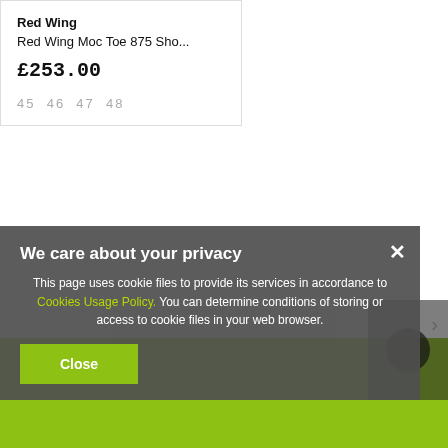Red Wing
Red Wing Moc Toe 875 Sho...
£253.00
45  46  47  48
[Figure (screenshot): Pagination bar element showing a light gray horizontal bar in the center of the page]
>
[Figure (screenshot): Green footer background with dark overlay showing a dark circular element at bottom right]
We care about your privacy
This page uses cookie files to provide its services in accordance to Cookies Usage Policy. You can determine conditions of storing or access to cookie files in your web browser.
Close